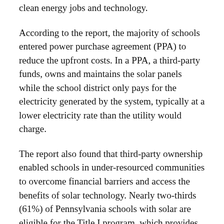clean energy jobs and technology.
According to the report, the majority of schools entered power purchase agreement (PPA) to reduce the upfront costs. In a PPA, a third-party funds, owns and maintains the solar panels while the school district only pays for the electricity generated by the system, typically at a lower electricity rate than the utility would charge.
The report also found that third-party ownership enabled schools in under-resourced communities to overcome financial barriers and access the benefits of solar technology. Nearly two-thirds (61%) of Pennsylvania schools with solar are eligible for the Title I program, which provides federal financial assistance for schools with students from low-income families.